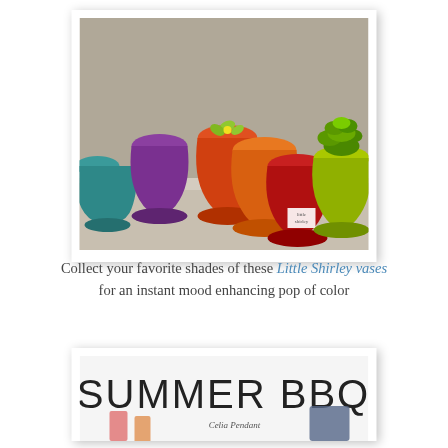[Figure (photo): Row of colorful ceramic Little Shirley vases (teal, purple, orange, orange, red, yellow-green) lined up on a surface, with a succulent plant in the front vase and a 'little shirley' tag.]
Collect your favorite shades of these Little Shirley vases for an instant mood enhancing pop of color
[Figure (photo): Partial view of a Summer BBQ themed book or catalog cover with large thin-font text 'SUMMER BBQ', 'Celia Pendant' text, and hanging bags/jackets.]